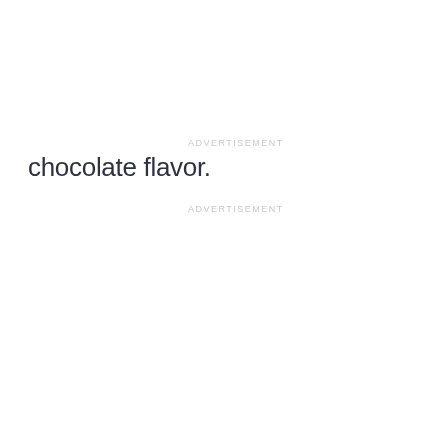ADVERTISEMENT
chocolate flavor.
ADVERTISEMENT